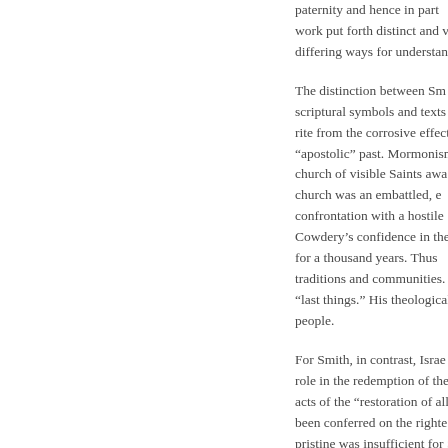paternity and hence in part work put forth distinct and v differing ways for understan
The distinction between Sm scriptural symbols and texts rite from the corrosive effect "apostolic" past. Mormonism church of visible Saints awa church was an embattled, e confrontation with a hostile Cowdery's confidence in the for a thousand years. Thus traditions and communities. "last things." His theological people.
For Smith, in contrast, Israe role in the redemption of the acts of the "restoration of all been conferred on the righte pristine was insufficient for S as well as the wisdom of hu